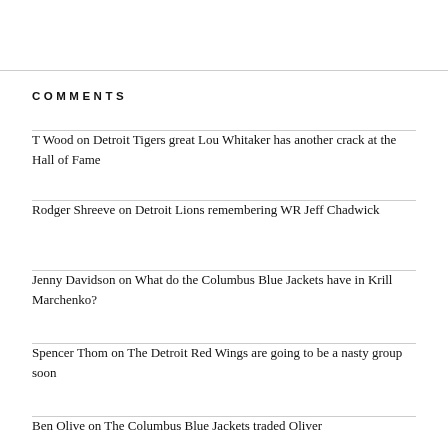COMMENTS
T Wood on Detroit Tigers great Lou Whitaker has another crack at the Hall of Fame
Rodger Shreeve on Detroit Lions remembering WR Jeff Chadwick
Jenny Davidson on What do the Columbus Blue Jackets have in Krill Marchenko?
Spencer Thom on The Detroit Red Wings are going to be a nasty group soon
Ben Olive on The Columbus Blue Jackets traded Oliver